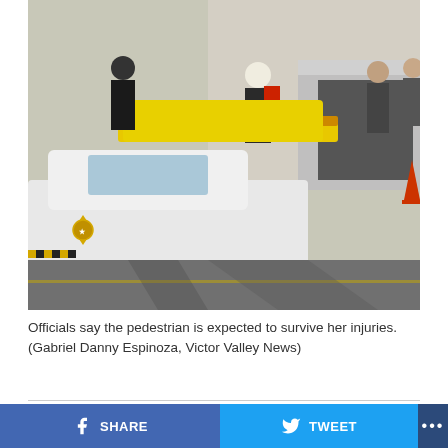[Figure (photo): Emergency responders and paramedics loading an injured pedestrian onto a stretcher into an ambulance, with a sheriff's police car in the foreground on a parking lot.]
Officials say the pedestrian is expected to survive her injuries. (Gabriel Danny Espinoza, Victor Valley News)
Share this:
SHARE
TWEET